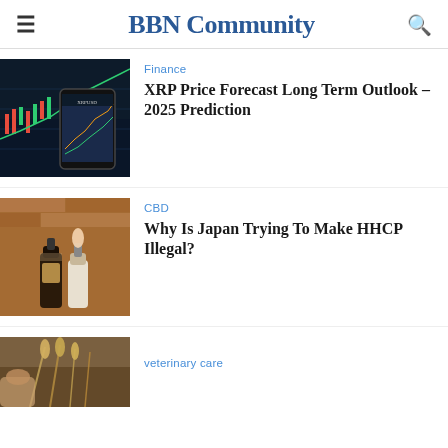BBN Community
Finance
XRP Price Forecast Long Term Outlook – 2025 Prediction
CBD
Why Is Japan Trying To Make HHCP Illegal?
veterinary care